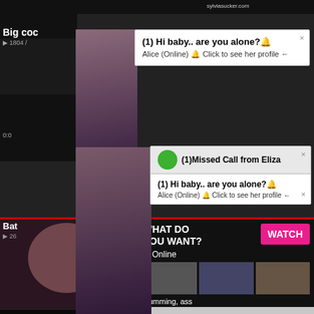sylviasucker.com
Big coc
1804 /
[Figure (screenshot): Popup notification: (1) Hi baby.. are you alone?🔔 Alice (Online) 🔔 Click to see her profile ←]
(1) Hi baby.. are you alone?🔔
Alice (Online) 🔔 Click to see her profile ←
ADS
(1)Missed Call from Eliza
(1) Hi baby.. are you alone?🔔
Alice (Online) 🔔 Click to see her profile ←
0:0
Bat
26
WHAT DO YOU WANT?
WATCH
Online
Cumming, ass fucking, squirt or...
• ADS